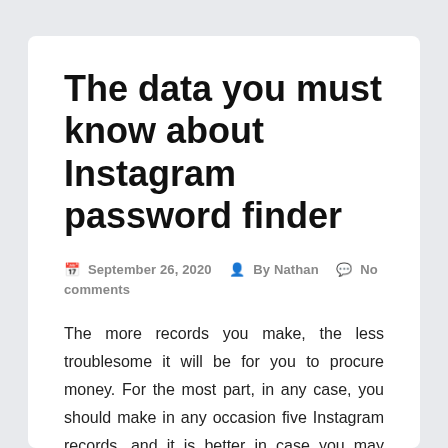The data you must know about Instagram password finder
📅 September 26, 2020   👤 By Nathan   💬 No comments
The more records you make, the less troublesome it will be for you to procure money. For the most part, in any case, you should make in any occasion five Instagram records, and it is better in case you may make more. Or maybe, you have to run a